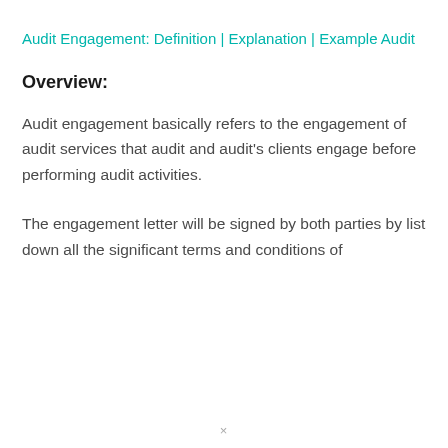Audit Engagement: Definition | Explanation | Example Audit
Overview:
Audit engagement basically refers to the engagement of audit services that audit and audit's clients engage before performing audit activities.
The engagement letter will be signed by both parties by list down all the significant terms and conditions of